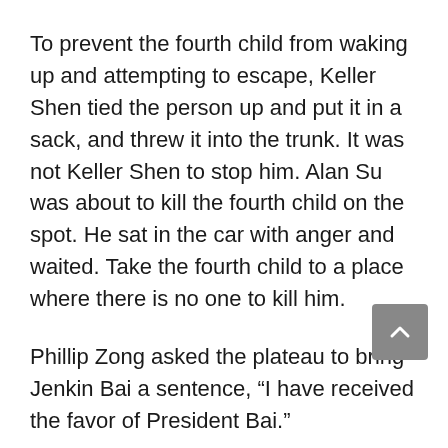To prevent the fourth child from waking up and attempting to escape, Keller Shen tied the person up and put it in a sack, and threw it into the trunk. It was not Keller Shen to stop him. Alan Su was about to kill the fourth child on the spot. He sat in the car with anger and waited. Take the fourth child to a place where there is no one to kill him.
Phillip Zong asked the plateau to bring Jenkin Bai a sentence, “I have received the favor of President Bai.”
No matter how much you don’t like Jenkin Bai, but this time he sent the fourth child to this favor, he must accept it.
Gao Gao said, “I will definitely bring this.”